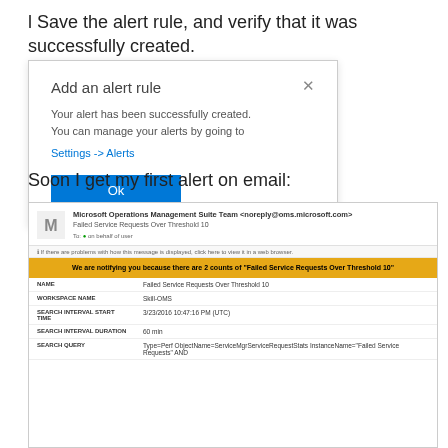l Save the alert rule, and verify that it was successfully created.
[Figure (screenshot): Dialog box titled 'Add an alert rule' showing success message: 'Your alert has been successfully created. You can manage your alerts by going to Settings -> Alerts' with an Ok button]
Soon I get my first alert on email:
[Figure (screenshot): Email from Microsoft Operations Management Suite Team <noreply@oms.microsoft.com> with subject 'Failed Service Requests Over Threshold 10'. Email body has a yellow header bar saying 'We are notifying you because there are 2 counts of "Failed Service Requests Over Threshold 10"' followed by a table with fields: NAME (Failed Service Requests Over Threshold 10), WORKSPACE NAME (Skill-OMS), SEARCH INTERVAL START TIME (3/23/2016 10:47:16 PM (UTC)), SEARCH INTERVAL DURATION (60 min), SEARCH QUERY (Type=Perf ObjectName=ServiceMgrServiceRequestStats InstanceName="Failed Service Requests" AND...)]